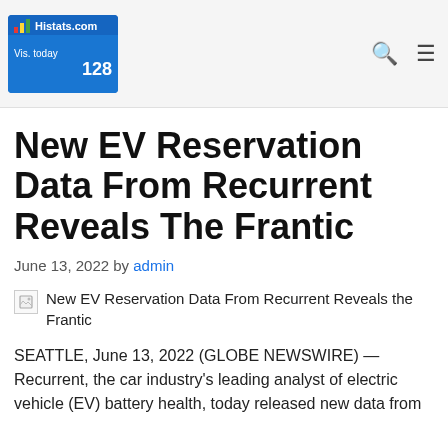Histats.com Vis. today 128
New EV Reservation Data From Recurrent Reveals The Frantic
June 13, 2022 by admin
New EV Reservation Data From Recurrent Reveals the Frantic
SEATTLE, June 13, 2022 (GLOBE NEWSWIRE) — Recurrent, the car industry's leading analyst of electric vehicle (EV) battery health, today released new data from